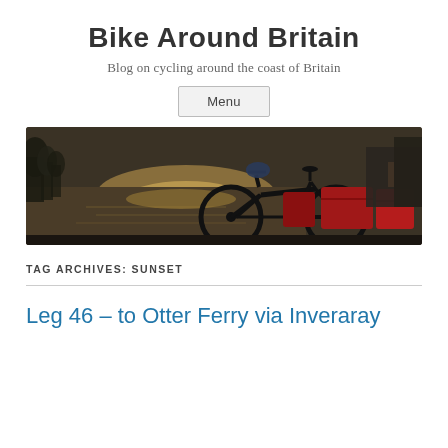Bike Around Britain
Blog on cycling around the coast of Britain
Menu
[Figure (photo): A loaded touring bicycle parked by a calm river or flooded area, with red panniers and a helmet on the handlebars. Trees and buildings visible in the background in dim light.]
TAG ARCHIVES: SUNSET
Leg 46 – to Otter Ferry via Inveraray